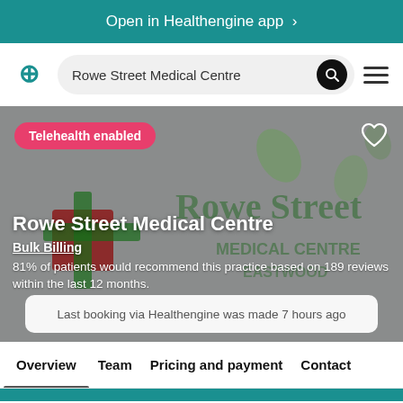Open in Healthengine app >
Rowe Street Medical Centre
[Figure (screenshot): Healthengine app navigation bar with logo, search bar showing 'Rowe Street Medical Centre', search button, and hamburger menu]
[Figure (photo): Hero image for Rowe Street Medical Centre showing the practice logo with green leaf motifs on a grey background. Overlaid: Telehealth enabled badge, heart icon, practice name, Bulk Billing label, review text, and last booking info box.]
Telehealth enabled
Rowe Street Medical Centre
Bulk Billing
81% of patients would recommend this practice based on 189 reviews within the last 12 months.
Last booking via Healthengine was made 7 hours ago
Overview   Team   Pricing and payment   Contact